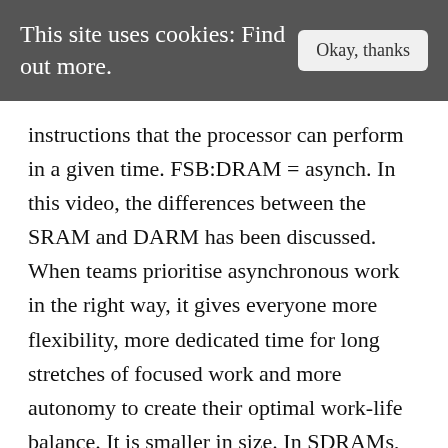This site uses cookies: Find out more.
instructions that the processor can perform in a given time. FSB:DRAM = asynch. In this video, the differences between the SRAM and DARM has been discussed. When teams prioritise asynchronous work in the right way, it gives everyone more flexibility, more dedicated time for long stretches of focused work and more autonomy to create their optimal work-life balance. It is smaller in size. In SDRAMs, the system clock coordinates or synchronizes memory access. The primary focus of DRAM manufacturers has been to either increase the